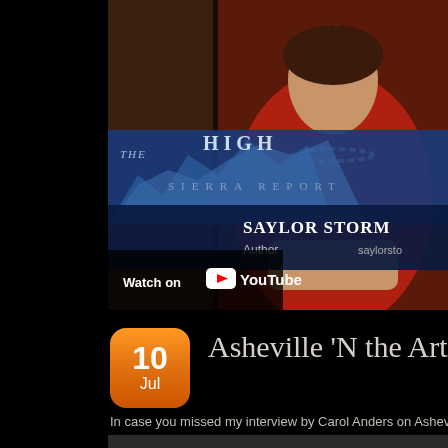[Figure (screenshot): YouTube video thumbnail showing 'The High Sierra Report' TV program with Saylor Storm listed as Author. A 'Watch on YouTube' overlay is visible at the bottom of the thumbnail.]
[Figure (other): Orange calendar date badge showing '10 Jul']
Asheville 'N the Arts Inte
In case you missed my interview by Carol Anders on Asheville 'N the A
[Figure (other): Audio player with play button, 00:00 timestamp, and progress bar]
0 Comments • Learn More
« Older Entries